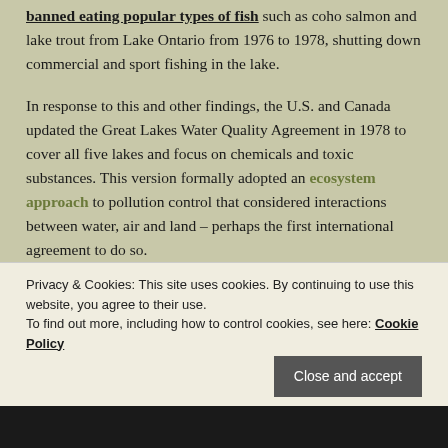banned eating popular types of fish such as coho salmon and lake trout from Lake Ontario from 1976 to 1978, shutting down commercial and sport fishing in the lake.
In response to this and other findings, the U.S. and Canada updated the Great Lakes Water Quality Agreement in 1978 to cover all five lakes and focus on chemicals and toxic substances. This version formally adopted an ecosystem approach to pollution control that considered interactions between water, air and land – perhaps the first international agreement to do so.
Privacy & Cookies: This site uses cookies. By continuing to use this website, you agree to their use. To find out more, including how to control cookies, see here: Cookie Policy
Close and accept